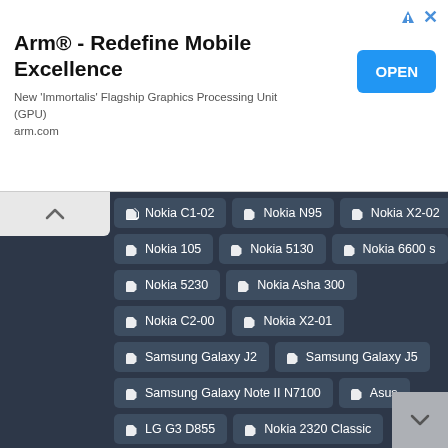[Figure (screenshot): Advertisement banner for Arm® - Redefine Mobile Excellence with OPEN button]
Nokia C1-02
Nokia N95
Nokia X2-02
Nokia 105
Nokia 5130
Nokia 6600 s
Nokia 5230
Nokia Asha 300
Nokia C2-00
Nokia X2-01
Samsung Galaxy J2
Samsung Galaxy J5
Samsung Galaxy Note II N7100
Asus
LG G3 D855
Nokia 2320 Classic
Nokia 2323 Classic
Nokia 2700 Classic
Nokia Asha 201
Nokia Asha 203
Samsung Galaxy J7
Micromax